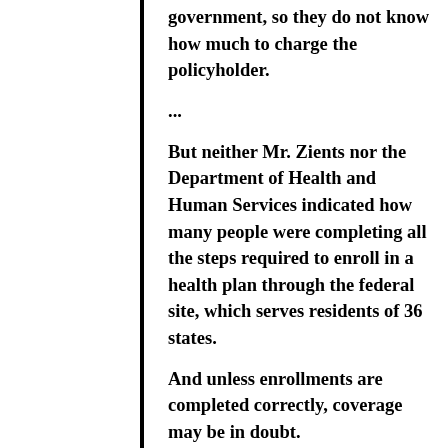government, so they do not know how much to charge the policyholder.
...
But neither Mr. Zients nor the Department of Health and Human Services indicated how many people were completing all the steps required to enroll in a health plan through the federal site, which serves residents of 36 states.
And unless enrollments are completed correctly, coverage may be in doubt.
For insurers the process is maddeningly inconsistent. Some people clearly are being enrolled. But insurers say they are still getting duplicate files and, more worrisome, sometimes not receiving information on